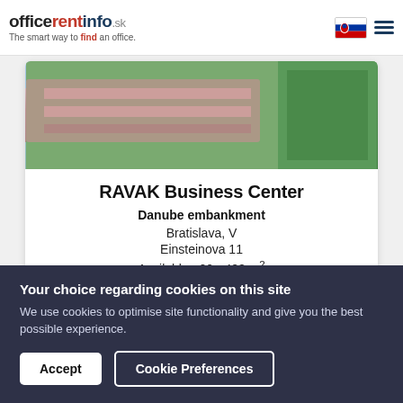officerentinfo.sk — The smart way to find an office.
[Figure (photo): Aerial/elevated photo of a building or bridge near a green area (Danube embankment)]
RAVAK Business Center
Danube embankment
Bratislava, V
Einsteinova 11
Available : 20 - 483 m²
[Figure (photo): Partial view of a second property listing card with circular icons]
Your choice regarding cookies on this site
We use cookies to optimise site functionality and give you the best possible experience.
Accept
Cookie Preferences